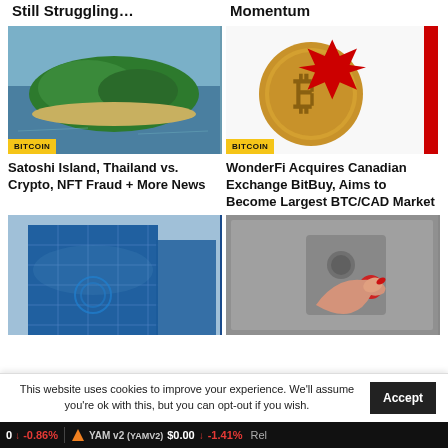Still Struggling...
Momentum
[Figure (photo): Aerial view of a tropical island surrounded by ocean, with BITCOIN badge]
[Figure (photo): Bitcoin gold coin with Canadian maple leaf flag in background, with BITCOIN badge]
Satoshi Island, Thailand vs. Crypto, NFT Fraud + More News
WonderFi Acquires Canadian Exchange BitBuy, Aims to Become Largest BTC/CAD Market
[Figure (photo): Low angle view of glass office building with blue sky]
[Figure (photo): Hand with red fingernails pressing elevator button]
This website uses cookies to improve your experience. We'll assume you're ok with this, but you can opt-out if you wish.
0  ↓ -0.86%   YAM v2 (YAMV2)  $0.00  ↓ -1.41%  Rel